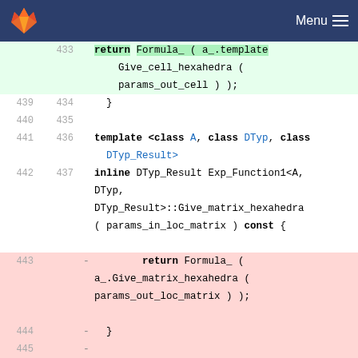Menu
[Figure (screenshot): Code diff view showing C++ template code with line numbers, added lines (green background) and removed lines (red background). Lines 433-447 visible.]